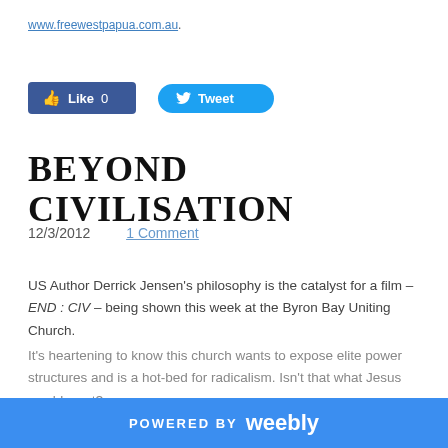www.freewestpapua.com.au.
[Figure (other): Facebook Like button (count: 0) and Twitter Tweet button]
BEYOND CIVILISATION
12/3/2012    1 Comment
US Author Derrick Jensen's philosophy is the catalyst for a film – END: CIV – being shown this week at the Byron Bay Uniting Church.
It's heartening to know this church wants to expose elite power structures and is a hot-bed for radicalism. Isn't that what Jesus would want?
POWERED BY weebly